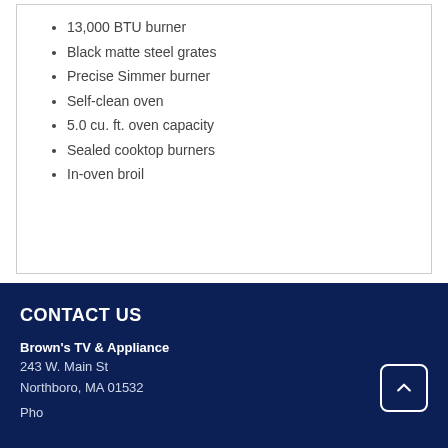13,000 BTU burner
Black matte steel grates
Precise Simmer burner
Self-clean oven
5.0 cu. ft. oven capacity
Sealed cooktop burners
In-oven broil
CONTACT US
Brown's TV & Appliance
243 W. Main St
Northboro, MA 01532
Phone